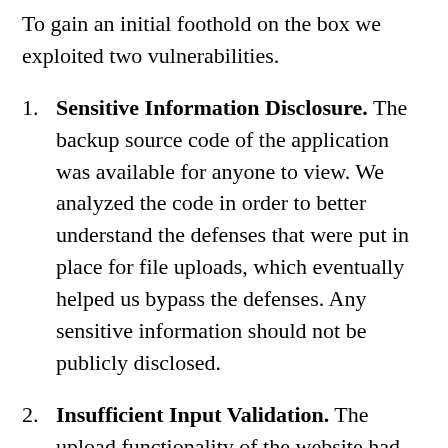To gain an initial foothold on the box we exploited two vulnerabilities.
Sensitive Information Disclosure. The backup source code of the application was available for anyone to view. We analyzed the code in order to better understand the defenses that were put in place for file uploads, which eventually helped us bypass the defenses. Any sensitive information should not be publicly disclosed.
Insufficient Input Validation. The upload functionality of the website had insufficient validation on the names of uploaded files. Therefore, we were able to upload a malicious